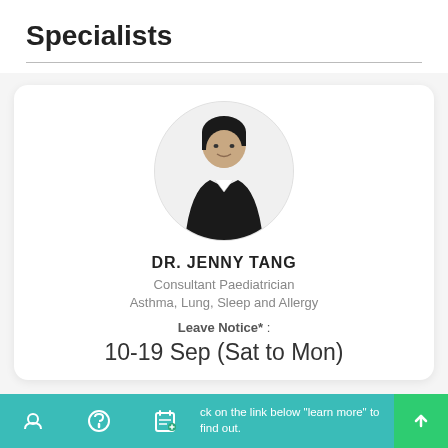Specialists
[Figure (photo): Circular profile photo of Dr. Jenny Tang, a woman in black attire with short dark hair, smiling slightly]
DR. JENNY TANG
Consultant Paediatrician
Asthma, Lung, Sleep and Allergy
Leave Notice* :
10-19 Sep (Sat to Mon)
Please click on the link below "learn more" to find out.